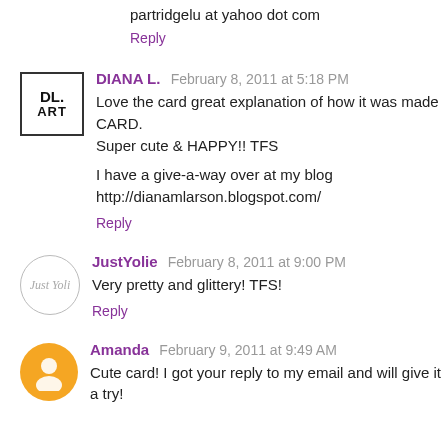partridgelu at yahoo dot com
Reply
DIANA L. February 8, 2011 at 5:18 PM
Love the card great explanation of how it was made CARD. Super cute & HAPPY!! TFS
I have a give-a-way over at my blog http://dianamlarson.blogspot.com/
Reply
JustYolie February 8, 2011 at 9:00 PM
Very pretty and glittery! TFS!
Reply
Amanda February 9, 2011 at 9:49 AM
Cute card! I got your reply to my email and will give it a try!